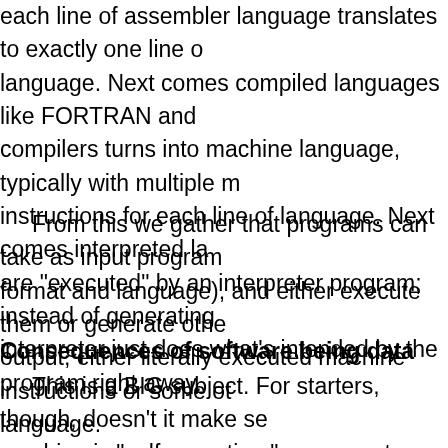each line of assembler language translates to exactly one line of language. Next comes compiled languages like FORTRAN and compilers turns into machine language, typically with multiple m instructions for each line of language. Next comes interpreted la are "executed" by an interpreter program; instead of generating interpreter just does what's intended by the program right away.
From this we gather that programs can take as input program format and language), and either execute them or generate othe output, either literally executed machine instructions or some ot language.
Consequences of software being data
This is a BIG subject. For starters, though, doesn't it make se machine is "self-operating," as computers are, and no other ma experience is, that effectively utilizing the self-referential power would lead to interesting things? It certainly has for humans!